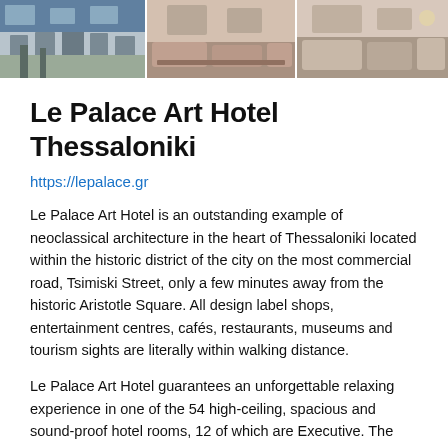[Figure (photo): Three hotel photos side by side: exterior neoclassical building facade, interior lounge seating area, interior room with sofa and lighting]
Le Palace Art Hotel Thessaloniki
https://lepalace.gr
Le Palace Art Hotel is an outstanding example of neoclassical architecture in the heart of Thessaloniki located within the historic district of the city on the most commercial road, Tsimiski Street, only a few minutes away from the historic Aristotle Square. All design label shops, entertainment centres, cafés, restaurants, museums and tourism sights are literally within walking distance.
Le Palace Art Hotel guarantees an unforgettable relaxing experience in one of the 54 high-ceiling, spacious and sound-proof hotel rooms, 12 of which are Executive. The rooms feature state-of-the-art door and window frames and ecological systems of sleep by the pioneering company Coco-mat (quadruple mattresses and a list of 6 quality pillows made of 100 natural materials).
Our certified traditional Greek breakfast is unique for the quality of its ingredients with a high grade of Autonomy. The booking...